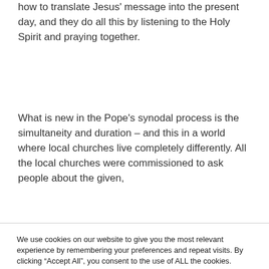how to translate Jesus' message into the present day, and they do all this by listening to the Holy Spirit and praying together.
What is new in the Pope's synodal process is the simultaneity and duration – and this in a world where local churches live completely differently. All the local churches were commissioned to ask people about the given,
We use cookies on our website to give you the most relevant experience by remembering your preferences and repeat visits. By clicking "Accept All", you consent to the use of ALL the cookies. However, you may visit "Cookie Settings" to provide a controlled consent.